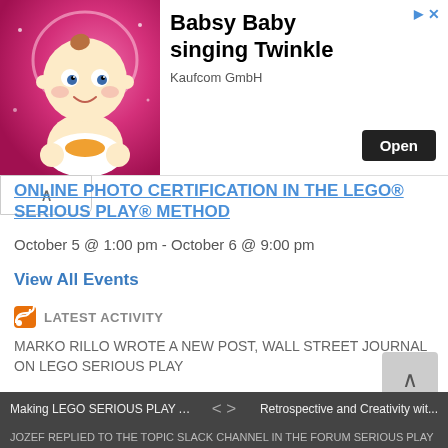[Figure (illustration): Ad banner showing cartoon baby character on pink background with 'Babsy Baby singing Twinkle' text, Kaufcom GmbH publisher, and Open button]
ONLINE PHOTO CERTIFICATION IN THE LEGO® SERIOUS PLAY® METHOD
October 5 @ 1:00 pm - October 6 @ 9:00 pm
View All Events
LATEST ACTIVITY
MARKO RILLO WROTE A NEW POST, WALL STREET JOURNAL ON LEGO SERIOUS PLAY
LATEST DISCUSSIONS
Making LEGO SERIOUS PLAY Apo... < > Retrospective and Creativity wit...
JOZEF REPLIED TO THE TOPIC SLACK CHANNEL IN THE FORUM SERIOUS PLAY